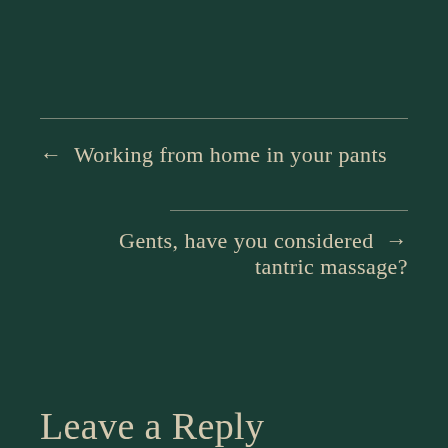← Working from home in your pants
Gents, have you considered tantric massage? →
Leave a Reply